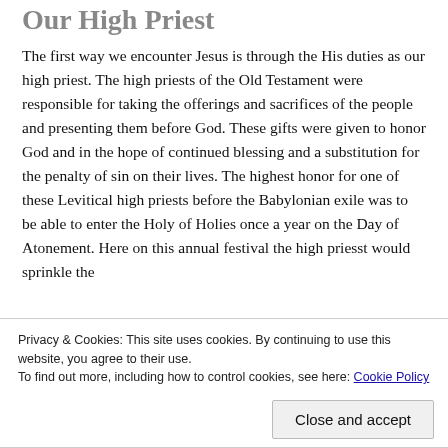Our High Priest
The first way we encounter Jesus is through the His duties as our high priest. The high priests of the Old Testament were responsible for taking the offerings and sacrifices of the people and presenting them before God. These gifts were given to honor God and in the hope of continued blessing and a substitution for the penalty of sin on their lives. The highest honor for one of these Levitical high priests before the Babylonian exile was to be able to enter the Holy of Holies once a year on the Day of Atonement. Here on this annual festival the high priesst would sprinkle the
Privacy & Cookies: This site uses cookies. By continuing to use this website, you agree to their use.
To find out more, including how to control cookies, see here: Cookie Policy
Close and accept